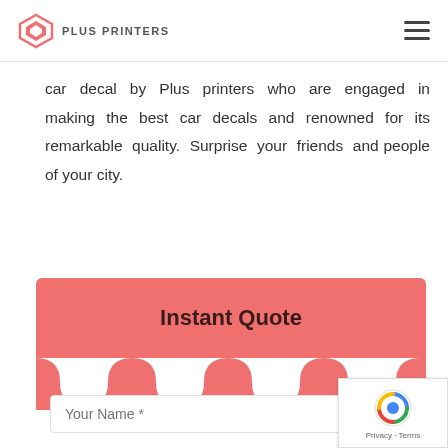PLUS PRINTERS
car decal by Plus printers who are engaged in making the best car decals and renowned for its remarkable quality. Surprise your friends and people of your city.
Instant Quote
Your Name *